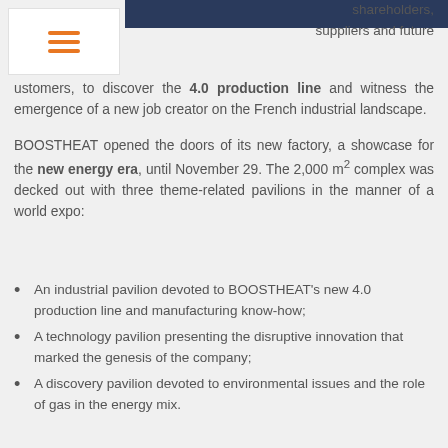[Figure (photo): Partial photo strip at top of page showing people]
shareholders, suppliers and future customers, to discover the 4.0 production line and witness the emergence of a new job creator on the French industrial landscape.
BOOSTHEAT opened the doors of its new factory, a showcase for the new energy era, until November 29. The 2,000 m² complex was decked out with three theme-related pavilions in the manner of a world expo:
An industrial pavilion devoted to BOOSTHEAT's new 4.0 production line and manufacturing know-how;
A technology pavilion presenting the disruptive innovation that marked the genesis of the company;
A discovery pavilion devoted to environmental issues and the role of gas in the energy mix.